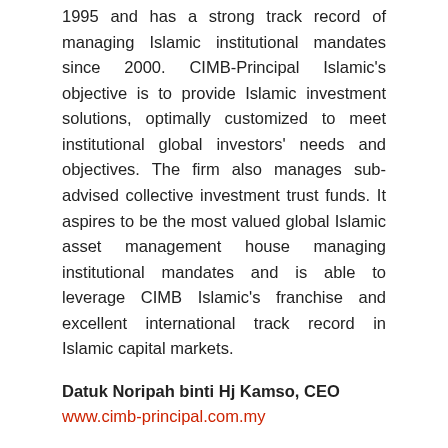1995 and has a strong track record of managing Islamic institutional mandates since 2000. CIMB-Principal Islamic's objective is to provide Islamic investment solutions, optimally customized to meet institutional global investors' needs and objectives. The firm also manages sub-advised collective investment trust funds. It aspires to be the most valued global Islamic asset management house managing institutional mandates and is able to leverage CIMB Islamic's franchise and excellent international track record in Islamic capital markets.
Datuk Noripah binti Hj Kamso, CEO
www.cimb-principal.com.my
Best Shariah-Compliant Index Provider
Dow Jones Islamic Market Indexes
The Dow Jones Islamic Market (DJIM) Index family includes thousands of broad-market, blue-chip, fixed-income and strategy and thematic indexes that have passed rules-based